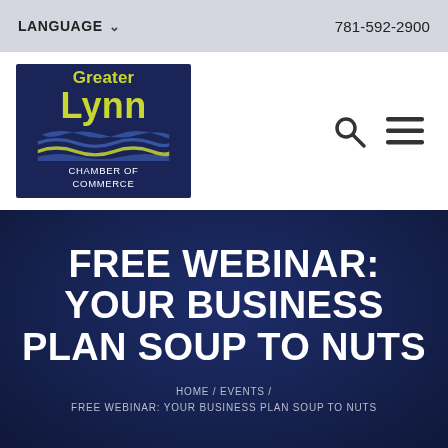LANGUAGE  781-592-2900
[Figure (logo): Greater Lynn Chamber of Commerce logo — navy blue background with yellow-green text 'Greater Lynn' and wave illustration, white text 'CHAMBER OF COMMERCE']
FREE WEBINAR: YOUR BUSINESS PLAN SOUP TO NUTS
HOME / EVENTS / FREE WEBINAR: YOUR BUSINESS PLAN SOUP TO NUTS